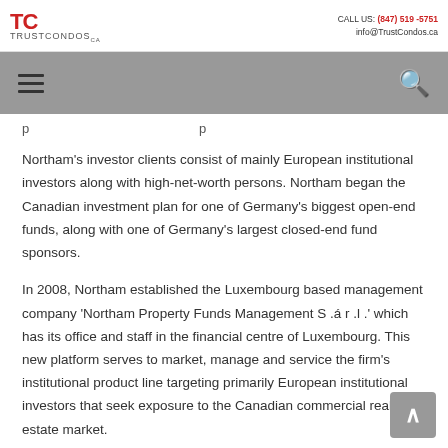TC TRUSTCONDOS | CALL US: (847) 519-5751 | info@TrustCondos.ca
Northam's investor clients consist of mainly European institutional investors along with high-net-worth persons. Northam began the Canadian investment plan for one of Germany's biggest open-end funds, along with one of Germany's largest closed-end fund sponsors.
In 2008, Northam established the Luxembourg based management company 'Northam Property Funds Management S .á r .l .' which has its office and staff in the financial centre of Luxembourg. This new platform serves to market, manage and service the firm's institutional product line targeting primarily European institutional investors that seek exposure to the Canadian commercial real estate market.
The key to Northam's success is the quality, experience, and long